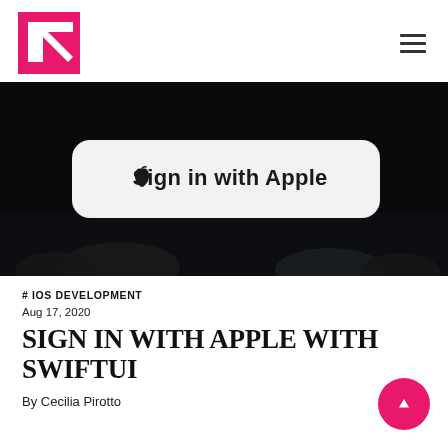Navigation bar with logo and hamburger menu
[Figure (photo): Dark background photo showing a white pill-shaped button with Apple logo and 'Sign in with Apple' text displayed on a screen, with hands partially visible at the bottom]
# IOS DEVELOPMENT
Aug 17, 2020
SIGN IN WITH APPLE WITH SWIFTUI
By Cecilia Pirotto